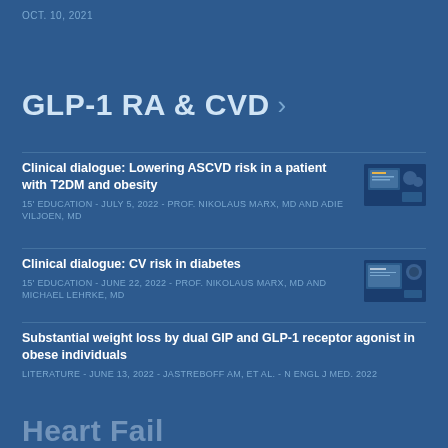OCT. 10, 2021
GLP-1 RA & CVD >
Clinical dialogue: Lowering ASCVD risk in a patient with T2DM and obesity
15' EDUCATION - JULY 5, 2022 - PROF. NIKOLAUS MARX, MD AND ADIE VILJOEN, MD
[Figure (photo): Thumbnail image of two men in a clinical dialogue setting]
Clinical dialogue: CV risk in diabetes
15' EDUCATION - JUNE 22, 2022 - PROF. NIKOLAUS MARX, MD AND MICHAEL LEHRKE, MD
[Figure (photo): Thumbnail image of clinical dialogue with presentation slide]
Substantial weight loss by dual GIP and GLP-1 receptor agonist in obese individuals
LITERATURE - JUNE 13, 2022 - JASTREBOFF AM, ET AL. - N ENGL J MED. 2022
Heart Fail…